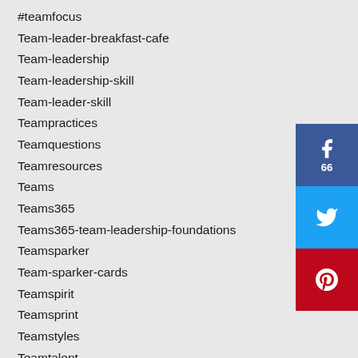#teamfocus
Team-leader-breakfast-cafe
Team-leadership
Team-leadership-skill
Team-leader-skill
Teampractices
Teamquestions
Teamresources
Teams
Teams365
Teams365-team-leadership-foundations
Teamsparker
Team-sparker-cards
Teamspirit
Teamsprint
Teamstyles
Teamtalent
#teamtool
Team Tool
[Figure (infographic): Social media share buttons: Facebook (66 shares), Twitter, Pinterest]